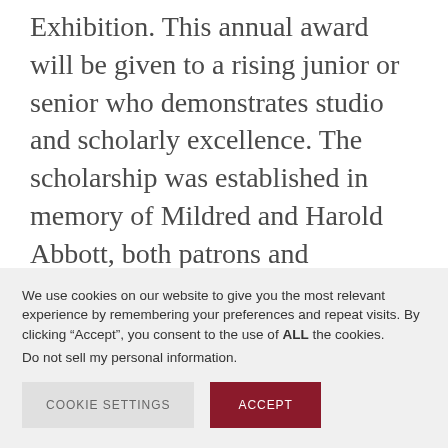Exhibition. This annual award will be given to a rising junior or senior who demonstrates studio and scholarly excellence. The scholarship was established in memory of Mildred and Harold Abbott, both patrons and practitioners in the visual and performing arts.
The student exhibition will open Friday, May
We use cookies on our website to give you the most relevant experience by remembering your preferences and repeat visits. By clicking “Accept”, you consent to the use of ALL the cookies.
Do not sell my personal information.